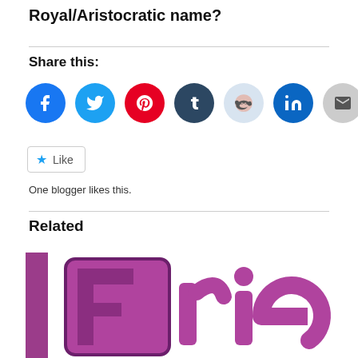Royal/Aristocratic name?
Share this:
[Figure (other): Social media sharing buttons: Facebook, Twitter, Pinterest, Tumblr, Reddit, LinkedIn, Email, Print]
[Figure (other): Like button with star icon]
One blogger likes this.
Related
[Figure (photo): Cropped image showing stylized purple/magenta text reading 'Fri' (part of a word, likely 'Friends' or similar), with bold 3D-style lettering on a white background]